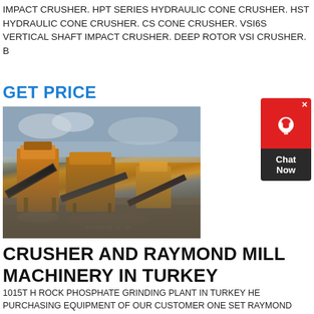IMPACT CRUSHER. HPT SERIES HYDRAULIC CONE CRUSHER. HST HYDRAULIC CONE CRUSHER. CS CONE CRUSHER. VSI6S VERTICAL SHAFT IMPACT CRUSHER. DEEP ROTOR VSI CRUSHER. B
GET PRICE
[Figure (photo): Industrial crushing and screening machinery (orange/yellow) set up outdoors on a rocky/gravel site with overcast sky in background.]
[Figure (other): Chat Now widget — red icon box with headset icon and X close button, dark label box reading Chat Now]
CRUSHER AND RAYMOND MILL MACHINERY IN TURKEY
1015T H ROCK PHOSPHATE GRINDING PLANT IN TURKEY HE PURCHASING EQUIPMENT OF OUR CUSTOMER ONE SET RAYMOND MILL. CUSTOMERS FEEDBACK THE